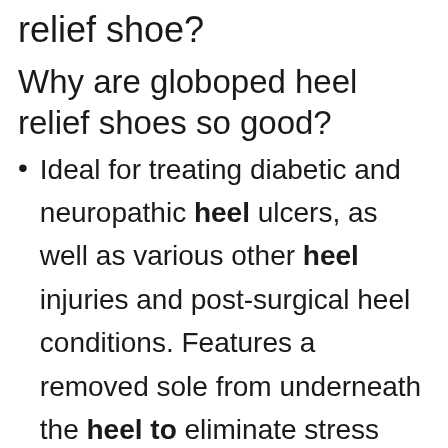relief shoe?
Why are globoped heel relief shoes so good?
Ideal for treating diabetic and neuropathic heel ulcers, as well as various other heel injuries and post-surgical heel conditions. Features a removed sole from underneath the heel to eliminate stress when the rest of the foot makes contact with the ground.
🔲 What are the best sneakers for heel pain?